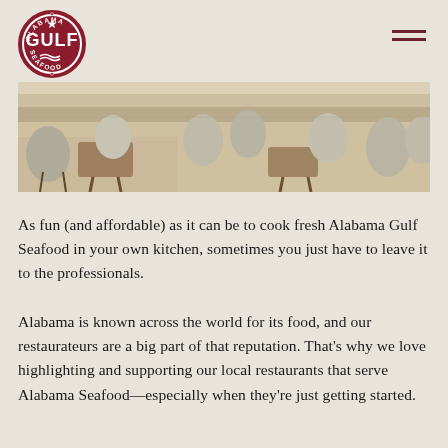Alabama Gulf Seafood logo and navigation
[Figure (photo): Interior of a restaurant showing modern upholstered chairs around tables on a light tiled floor]
As fun (and affordable) as it can be to cook fresh Alabama Gulf Seafood in your own kitchen, sometimes you just have to leave it to the professionals.
Alabama is known across the world for its food, and our restaurateurs are a big part of that reputation. That's why we love highlighting and supporting our local restaurants that serve Alabama Seafood—especially when they're just getting started.